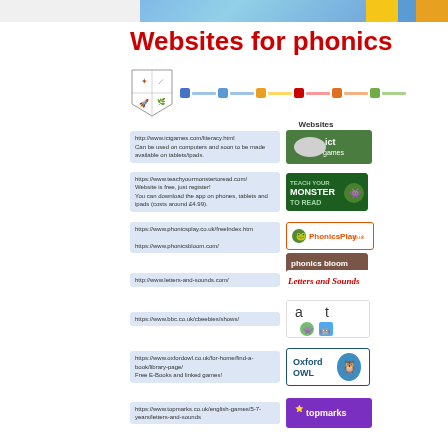Websites for phonics
[Figure (logo): School shield logo and phase progression dots with 'Websites' label]
http://www.ictgames.com/literacy.html
Can be used on computers and soon to be made available on tablets/ipads.
https://www.teachyourmonstertoread.com/
Website is free, just register!
You can download the app on phones, tablets and ipads (costs around £4.99).
https://www.phonicsplay.co.uk/freeIndex.htm
https://www.phonicsbloom.com/
http://www.letters-and-sounds.com/
https://www.bbc.co.uk/cbeebies/shows/
https://www.oxfordowl.co.uk/for-home/find-a-book/library-page/
Free E-Books and linked games!
https://www.topmarks.co.uk/english-games/5-7-years/letters-and-sounds